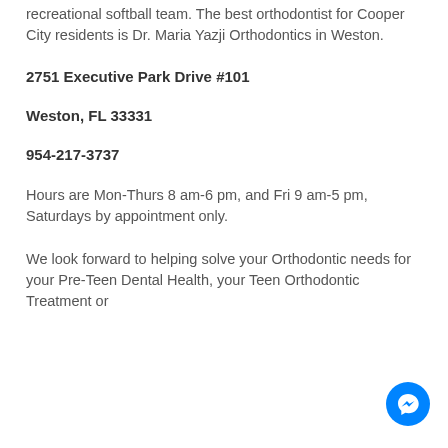recreational softball team. The best orthodontist for Cooper City residents is Dr. Maria Yazji Orthodontics in Weston.
2751 Executive Park Drive #101
Weston, FL 33331
954-217-3737
Hours are Mon-Thurs 8 am-6 pm, and Fri 9 am-5 pm, Saturdays by appointment only.
We look forward to helping solve your Orthodontic needs for your Pre-Teen Dental Health, your Teen Orthodontic Treatment or